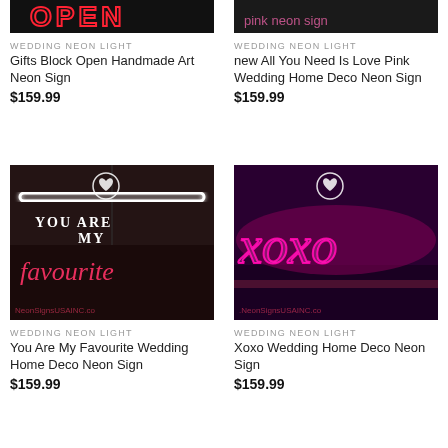[Figure (photo): Top-cropped neon sign product image showing partial red OPEN neon sign on black background]
WEDDING NEON LIGHT
Gifts Block Open Handmade Art Neon Sign
$159.99
[Figure (photo): Top-cropped neon sign product image showing pink neon sign on dark background]
WEDDING NEON LIGHT
new All You Need Is Love Pink Wedding Home Deco Neon Sign
$159.99
[Figure (photo): Neon sign reading YOU ARE MY favourite in white and pink neon on dark background, with NeonSignsUSAINC.com watermark and heart/wishlist button]
WEDDING NEON LIGHT
You Are My Favourite Wedding Home Deco Neon Sign
$159.99
[Figure (photo): Neon sign reading xoxo in pink/magenta neon on dark purple background, with NeonSignsUSAINC.com watermark and heart/wishlist button]
WEDDING NEON LIGHT
Xoxo Wedding Home Deco Neon Sign
$159.99